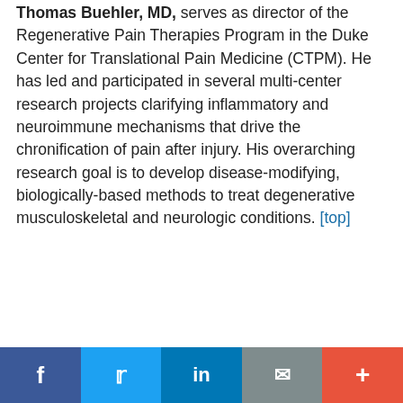Thomas Buehler, MD, serves as director of the Regenerative Pain Therapies Program in the Duke Center for Translational Pain Medicine (CTPM). He has led and participated in several multi-center research projects clarifying inflammatory and neuroimmune mechanisms that drive the chronification of pain after injury. His overarching research goal is to develop disease-modifying, biologically-based methods to treat degenerative musculoskeletal and neurologic conditions. [top]
This website uses cookies to ensure you get the best experience on our website. Learn more
Got it!